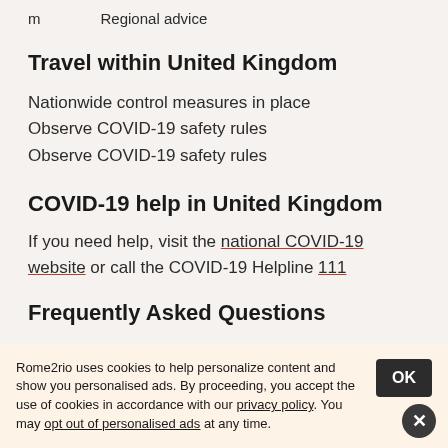m   Regional advice
Travel within United Kingdom
Nationwide control measures in place
Observe COVID-19 safety rules
Observe COVID-19 safety rules
COVID-19 help in United Kingdom
If you need help, visit the national COVID-19 website or call the COVID-19 Helpline 111
Frequently Asked Questions
Rome2rio uses cookies to help personalize content and show you personalised ads. By proceeding, you accept the use of cookies in accordance with our privacy policy. You may opt out of personalised ads at any time.